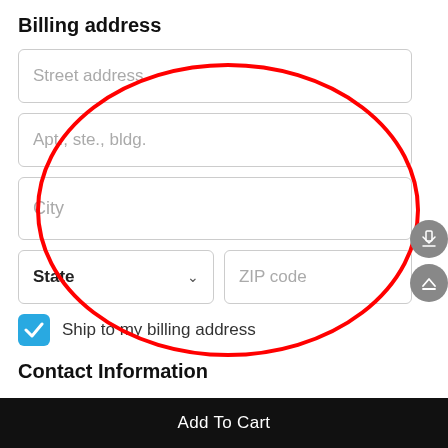Billing address
[Figure (screenshot): Mobile app billing address form with input fields: Street address, Apt./ste./bldg., City, State dropdown, ZIP code. A large red ellipse/circle annotation highlights the Apt/ste/bldg, City, State, and ZIP fields. A blue checkbox labeled 'Ship to my billing address' is shown below. Two sidebar icon buttons (share and scroll-to-top) appear on the right. A Contact Information section header appears near the bottom.]
Ship to my billing address
Contact Information
Add To Cart